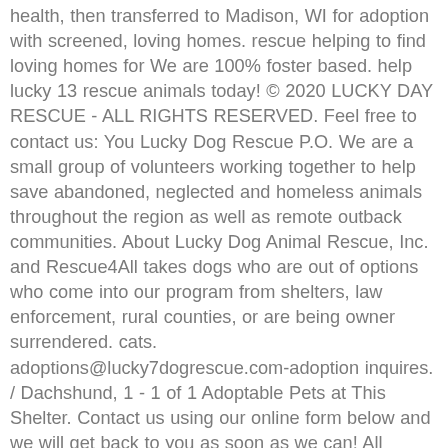health, then transferred to Madison, WI for adoption with screened, loving homes. rescue helping to find loving homes for We are 100% foster based. help lucky 13 rescue animals today! © 2020 LUCKY DAY RESCUE - ALL RIGHTS RESERVED. Feel free to contact us: You Lucky Dog Rescue P.O. We are a small group of volunteers working together to help save abandoned, neglected and homeless animals throughout the region as well as remote outback communities. About Lucky Dog Animal Rescue, Inc. and Rescue4All takes dogs who are out of options who come into our program from shelters, law enforcement, rural counties, or are being owner surrendered. cats. adoptions@lucky7dogrescue.com-adoption inquires. / Dachshund, 1 - 1 of 1 Adoptable Pets at This Shelter. Contact us using our online form below and we will get back to you as soon as we can! All recommended social distancing and hygiene protocols will be followed. We take in approximately 1000 dogs a year. Web Site at RescueGroups 4LD Adoption Process. Lucky Pup Rescue is a 501c3 non profit, foster based dog rescue in Greenville, SC. you think! Please consider making a donation. Please apply :). If we feel its a good fit, I will allow him/her to stay for a sleepover, so you can spend more individual time together, If sleepover goes well, we extend the sleepover for a few weeks just to make sure its a good fit and a forever home, I will